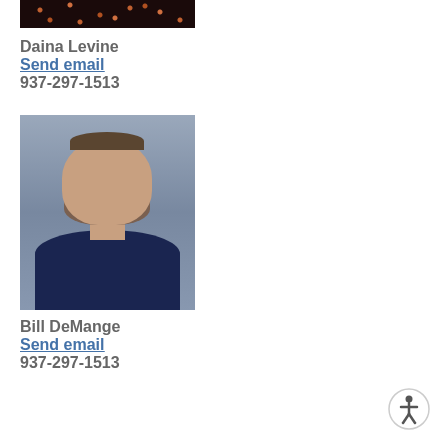[Figure (photo): Partial photo of Daina Levine, cropped at top showing sequined/sparkly dark fabric]
Daina Levine
Send email
937-297-1513
[Figure (photo): Headshot of Bill DeMange, a man with a beard wearing a dark navy polo shirt, grey background]
Bill DeMange
Send email
937-297-1513
[Figure (illustration): Accessibility icon - circular button with person symbol]